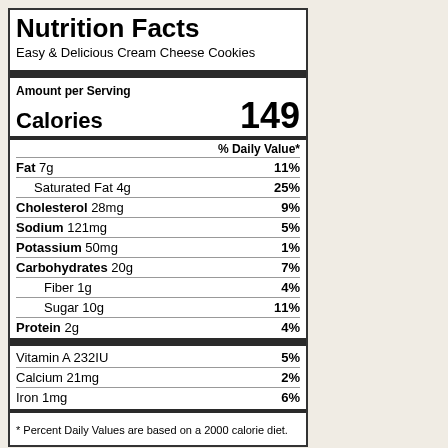Nutrition Facts
Easy & Delicious Cream Cheese Cookies
Amount per Serving
Calories 149
| Nutrient | % Daily Value |
| --- | --- |
| Fat 7g | 11% |
| Saturated Fat 4g | 25% |
| Cholesterol 28mg | 9% |
| Sodium 121mg | 5% |
| Potassium 50mg | 1% |
| Carbohydrates 20g | 7% |
| Fiber 1g | 4% |
| Sugar 10g | 11% |
| Protein 2g | 4% |
| Vitamin A 232IU | 5% |
| Calcium 21mg | 2% |
| Iron 1mg | 6% |
* Percent Daily Values are based on a 2000 calorie diet.